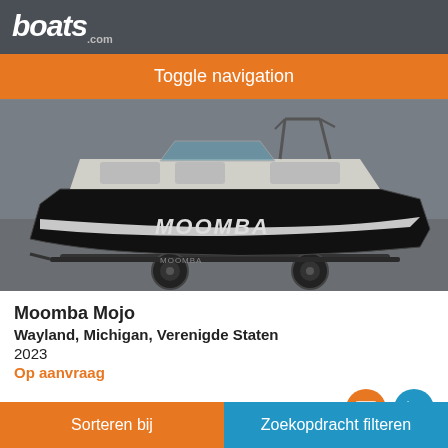boats.com
Toggle navigation
[Figure (photo): Black and white Moomba Mojo ski boat on a trailer inside a dealership or warehouse. The boat is sleek with black hull, white interior seating, tower rack, and 'MOOMBA' lettering on the side.]
Moomba Mojo
Wayland, Michigan, Verenigde Staten
2023
Op aanvraag
Verkoper Premier Boating
Sorteren bij  Zoekopdracht filteren